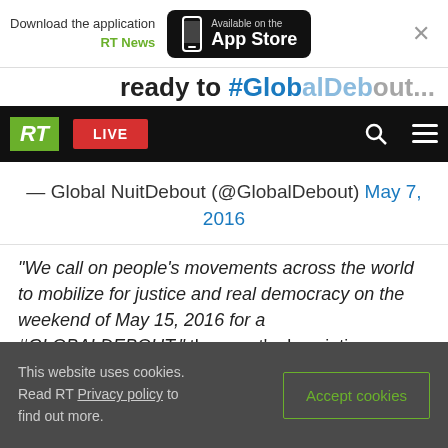[Figure (screenshot): App download banner showing 'Download the application RT News' with App Store button and close (X) icon]
[Figure (screenshot): Partial headline text 'ready to #GlobalDebout...' cut off]
[Figure (screenshot): RT website navigation bar with RT logo (green), LIVE button (red), search icon, and hamburger menu]
— Global NuitDebout (@GlobalDebout) May 7, 2016
“We call on people’s movements across the world to mobilize for justice and real democracy on the weekend of May 15, 2016 for a #GLOBALDEBOUT,” the event’s descriptions states.
The aim of the global movement would be to arrange local “autonomous” protests linked by an
This website uses cookies. Read RT Privacy policy to find out more.
Accept cookies